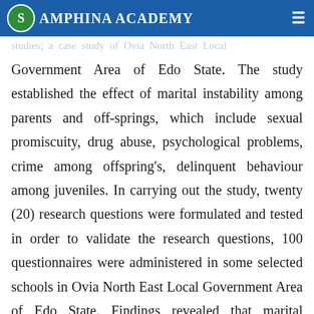AMPHINA ACADEMY
marital instability on the academic performance of studies; a case study of Ovia North East Local Government Area of Edo State. The study established the effect of marital instability among parents and off-springs, which include sexual promiscuity, drug abuse, psychological problems, crime among offspring's, delinquent behaviour among juveniles. In carrying out the study, twenty (20) research questions were formulated and tested in order to validate the research questions, 100 questionnaires were administered in some selected schools in Ovia North East Local Government Area of Edo State. Findings revealed that marital instability increases the chance of crime among